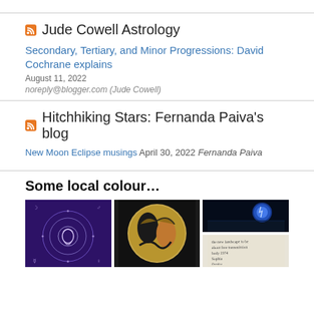Jude Cowell Astrology
Secondary, Tertiary, and Minor Progressions: David Cochrane explains
August 11, 2022
noreply@blogger.com (Jude Cowell)
Hitchhiking Stars: Fernanda Paiva’s blog
New Moon Eclipse musings April 30, 2022 Fernanda Paiva
Some local colour…
[Figure (photo): Purple background astrology zodiac wheel illustration with a stylized comet/meteor symbol in the center, surrounded by zodiac symbols]
[Figure (photo): Ancient Greek black-figure pottery showing mythological figures including a person and a serpent/snake on a circular dish, dark background]
[Figure (photo): Top: Dark night sky with a glowing blue moon over a dark body of water. Bottom: Handwritten note on paper with cursive text.]